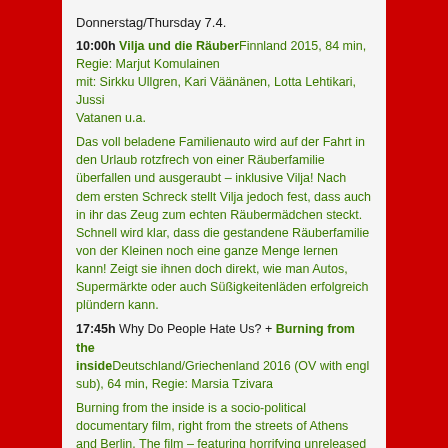Donnerstag/Thursday 7.4.
10:00h Vilja und die RäuberFinnland 2015, 84 min, Regie: Marjut Komulainen
mit: Sirkku Ullgren, Kari Väänänen, Lotta Lehtikari, Jussi Vatanen u.a.
Das voll beladene Familienauto wird auf der Fahrt in den Urlaub rotzfrech von einer Räuberfamilie überfallen und ausgeraubt – inklusive Vilja! Nach dem ersten Schreck stellt Vilja jedoch fest, dass auch in ihr das Zeug zum echten Räubermädchen steckt. Schnell wird klar, dass die gestandene Räuberfamilie von der Kleinen noch eine ganze Menge lernen kann! Zeigt sie ihnen doch direkt, wie man Autos, Supermärkte oder auch Süßigkeitenläden erfolgreich plündern kann.
17:45h Why Do People Hate Us? + Burning from the insideDeutschland/Griechenland 2016 (OV with engl sub), 64 min, Regie: Marsia Tzivara
Burning from the inside is a socio-political documentary film, right from the streets of Athens and Berlin. The film – featuring horrifying unreleased material from the neo-Nazi